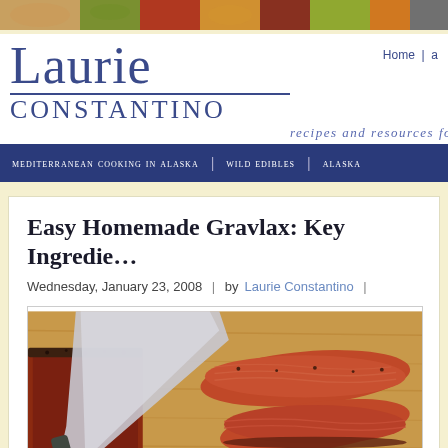[Figure (photo): Food photo strip banner at top of page showing various ingredients]
Laurie Constantino — RECIPES AND RESOURCES FOR FOOD
Home | a
mediterranean cooking in alaska | wild edibles | alaska
Easy Homemade Gravlax: Key Ingredie…
Wednesday, January 23, 2008 | by Laurie Constantino |
[Figure (photo): Sliced gravlax salmon on a wooden cutting board with a knife, showing cured salmon fillets with dark spice crust]